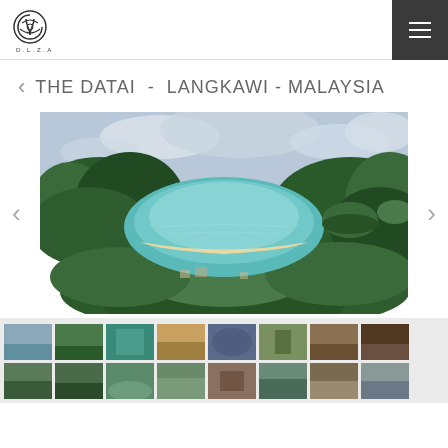[Figure (logo): D.L.Z.A architectural firm logo - stylized interlocking letters with D.L.Z.A text below]
THE DATAI  -  LANGKAWI - MALAYSIA
[Figure (photo): Aerial panoramic view of The Datai resort in Langkawi, Malaysia - showing a sheltered bay with turquoise water, white sand beach, and dense tropical jungle surrounding the bay]
[Figure (photo): Gallery of thumbnail images showing various views of The Datai Langkawi resort - beach, pool area, buildings, interiors, outdoor spaces, and jungle scenery]